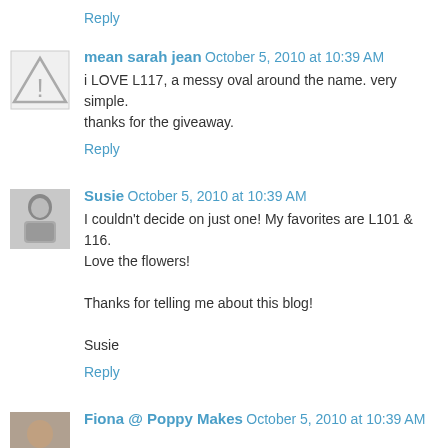Reply
mean sarah jean  October 5, 2010 at 10:39 AM
i LOVE L117, a messy oval around the name. very simple. thanks for the giveaway.
Reply
Susie  October 5, 2010 at 10:39 AM
I couldn't decide on just one! My favorites are L101 & 116. Love the flowers!

Thanks for telling me about this blog!

Susie
Reply
Fiona @ Poppy Makes  October 5, 2010 at 10:39 AM